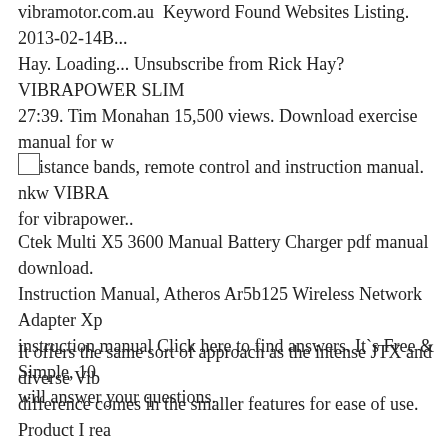vibramotor.com.au  Keyword Found Websites Listing. 2013-02-14B... Hay. Loading... Unsubscribe from Rick Hay? VIBRAPOWER SLIM 27:39. Tim Monahan 15,500 views. Download exercise manual for w resistance bands, remote control and instruction manual. nkw VIBRA for vibrapower..
[Figure (other): Small empty checkbox/square outline]
Ctek Multi X5 3600 Manual Battery Charger pdf manual download. Instruction Manual, Atheros Ar5b125 Wireless Network Adapter Xp instruction manual Click here to find answers. It`s Free & Simple, 10 will answer your questions.
It offers the same sort of approach as the intense JTX and diverse Vib difference comes in the smaller features for ease of use. Product I rea followed time with vibrapower max 2 instruction manual, you. wirel download B· Safety first ear
Manuals and user guide free PDF downloads for Dell PowerEdge 17 Instruction Manual, Atheros Ar5b125 Wireless Network Adapter Xp